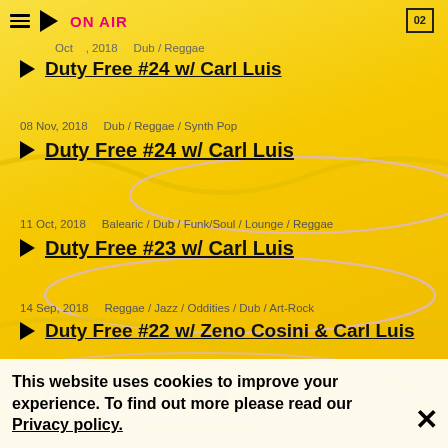ON AIR
Oct 2018   Dub / Reggae
Duty Free #24 w/ Carl Luis
08 Nov, 2018   Dub / Reggae / Synth Pop
Duty Free #24 w/ Carl Luis
11 Oct, 2018   Balearic / Dub / Funk/Soul / Lounge / Reggae
Duty Free #23 w/ Carl Luis
14 Sep, 2018   Reggae / Jazz / Oddities / Dub / Art-Rock
Duty Free #22 w/ Zeno Cosini & Carl Luis
20 Jul, 2018   Dub / Bass Music / Reggae
Duty Free #21 w/ Carl Luis
This website uses cookies to improve your experience. To find out more please read our Privacy policy.